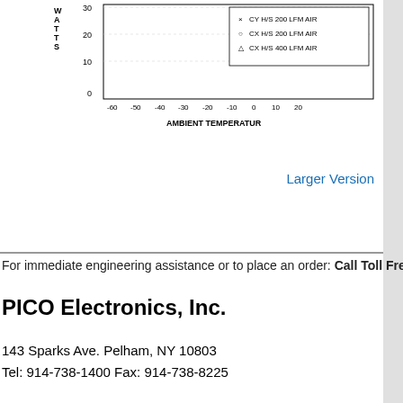[Figure (engineering-diagram): Partial chart showing watts vs ambient temperature with a legend showing CY H/S 200 LFM AIR (x marker), CX H/S 200 LFM AIR (o marker), and CX H/S 400 LFM AIR (triangle marker). Y-axis shows WATTS from 0 to 30, X-axis labeled AMBIENT TEMPERATUR showing values from -60 to 20+.]
Larger Version
For immediate engineering assistance or to place an order: Call Toll Free
PICO Electronics, Inc.
143 Sparks Ave. Pelham, NY 10803
Tel: 914-738-1400 Fax: 914-738-8225